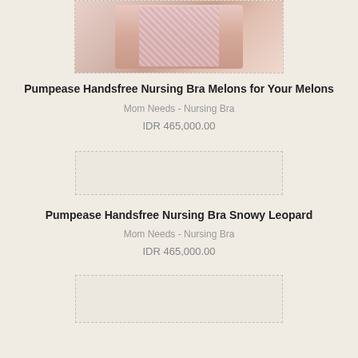[Figure (photo): Partial product photo of a nursing bra at top of page, cropped]
Pumpease Handsfree Nursing Bra Melons for Your Melons
Mom Needs - Nursing Bra
IDR 465,000.00
[Figure (photo): Empty dashed placeholder box for second product image]
Pumpease Handsfree Nursing Bra Snowy Leopard
Mom Needs - Nursing Bra
IDR 465,000.00
[Figure (photo): Empty dashed placeholder box for third product image]